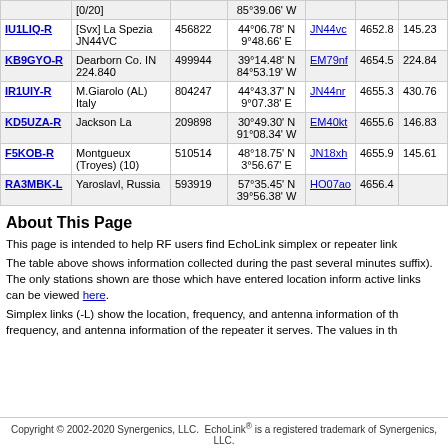| Callsign | Location | Node | Coordinates | Grid | Dist | Freq |
| --- | --- | --- | --- | --- | --- | --- |
|  | [0/20] |  | 85°39.06' W |  |  |  |
| IU1LIQ-R | [Svx] La Spezia JN44VC | 456822 | 44°06.78' N 9°48.66' E | JN44vc | 4652.8 | 145.23 |
| KB9GYO-R | Dearborn Co. IN 224.840 | 499944 | 39°14.48' N 84°53.19' W | EM79nf | 4654.5 | 224.84 |
| IR1UIY-R | M.Giarolo (AL) Italy | 804247 | 44°43.37' N 9°07.38' E | JN44nr | 4655.3 | 430.76 |
| KD5UZA-R | Jackson La | 209898 | 30°49.30' N 91°08.34' W | EM40kt | 4655.6 | 146.83 |
| F5KOB-R | Montgueux (Troyes) (10) | 510514 | 48°18.75' N 3°56.67' E | JN18xh | 4655.9 | 145.61 |
| RA3MBK-L | Yaroslavl, Russia | 593919 | 57°35.45' N 39°56.38' W | HO07ao | 4656.4 |  |
About This Page
This page is intended to help RF users find EchoLink simplex or repeater link
The table above shows information collected during the past several minutes suffix). The only stations shown are those which have entered location inform active links can be viewed here.
Simplex links (-L) show the location, frequency, and antenna information of th frequency, and antenna information of the repeater it serves. The values in th
Copyright © 2002-2020 Synergenics, LLC. EchoLink® is a registered trademark of Synergenics, LLC.